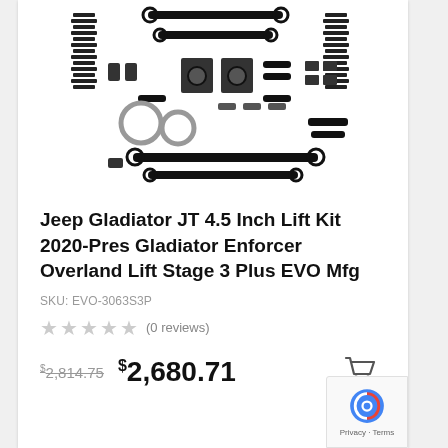[Figure (photo): Product photo showing components of a Jeep lift kit including coil springs, control arms, track bars, hardware brackets and other suspension parts laid out on a white background]
Jeep Gladiator JT 4.5 Inch Lift Kit 2020-Pres Gladiator Enforcer Overland Lift Stage 3 Plus EVO Mfg
SKU: EVO-3063S3P
★★★★★ (0 reviews)
$2,814.75  $2,680.71